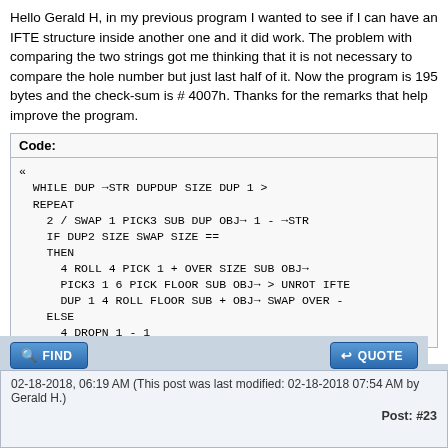Hello Gerald H, in my previous program I wanted to see if I can have an IFTE structure inside another one and it did work. The problem with comparing the two strings got me thinking that it is not necessary to compare the hole number but just last half of it. Now the program is 195 bytes and the check-sum is # 4007h. Thanks for the remarks that help improve the program.
Code:
«
  WHILE DUP →STR DUPDUP SIZE DUP 1 >
  REPEAT
    2 / SWAP 1 PICK3 SUB DUP OBJ→ 1 - →STR
    IF DUP2 SIZE SWAP SIZE ==
    THEN
      4 ROLL 4 PICK 1 + OVER SIZE SUB OBJ→
      PICK3 1 6 PICK FLOOR SUB OBJ→ > UNROT IFTE
      DUP 1 4 ROLL FLOOR SUB + OBJ→ SWAP OVER -
    ELSE
      4 DROPN 1 - 1
02-18-2018, 06:19 AM (This post was last modified: 02-18-2018 07:54 AM by Gerald H.)
Post: #23